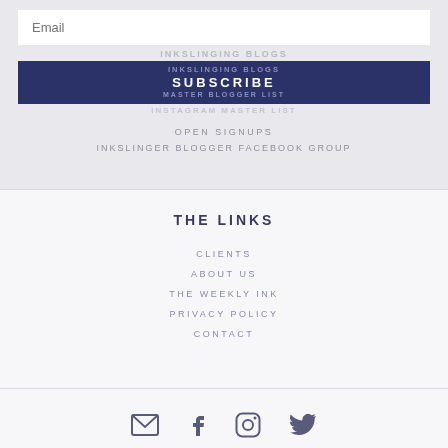Email
INKSLINGING BLOGS
SUBSCRIBE
INKSLINGING BLOGS
MASTER BLOGGER LIST
INSTAGRAM MASTER LIST
OPEN SIGNUPS
INKSLINGER BLOGGER FACEBOOK GROUP
THE LINKS
CLIENTS
ABOUT US
THE WEEKLY INK
PRIVACY POLICY
CONTACT
[Figure (infographic): Social media icons row: email envelope, Facebook f, Instagram camera, Twitter bird]